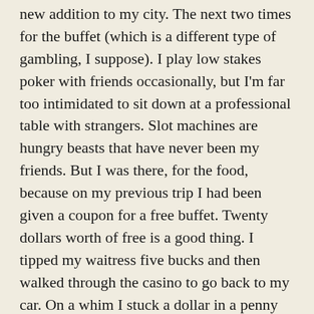new addition to my city. The next two times for the buffet (which is a different type of gambling, I suppose). I play low stakes poker with friends occasionally, but I'm far too intimidated to sit down at a professional table with strangers. Slot machines are hungry beasts that have never been my friends. But I was there, for the food, because on my previous trip I had been given a coupon for a free buffet. Twenty dollars worth of free is a good thing. I tipped my waitress five bucks and then walked through the casino to go back to my car. On a whim I stuck a dollar in a penny slot machine. Fifteen cent bet, no luck. Second fifteen cent bet... ding ding ding, lights, and sirens! I hit for $6.70. Pretty good return on a fifteen cent investment. I cashed out because quit while you're ahead, right? So I left, full of buffet and, minus the tip, $1.70 more than I